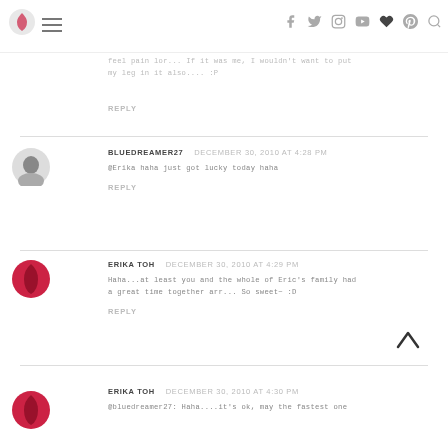Navigation bar with logo, hamburger menu, social icons (Facebook, Twitter, Instagram, YouTube, heart, Pinterest, search)
feel pain lor... If it was me, I wouldn't want to put my leg in it also.... :P
REPLY
BLUEDREAMER27   DECEMBER 30, 2010 AT 4:28 PM
@Erika haha just got lucky today haha
REPLY
ERIKA TOH   DECEMBER 30, 2010 AT 4:29 PM
Haha...at least you and the whole of Eric's family had a great time together arr... So sweet~ :D
REPLY
ERIKA TOH   DECEMBER 30, 2010 AT 4:30 PM
@bluedreamer27: Haha....it's ok, may the fastest one